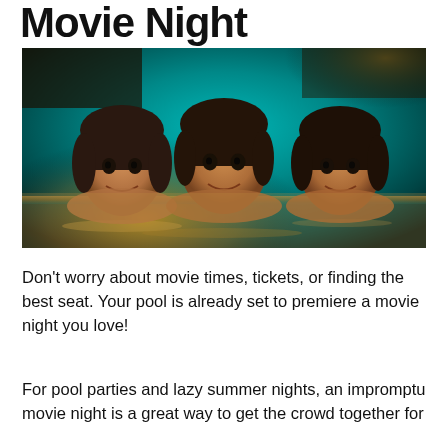Movie Night
[Figure (photo): Three young girls smiling in a swimming pool at night, lit from below by pool lights with warm amber and teal water reflections]
Don't worry about movie times, tickets, or finding the best seat. Your pool is already set to premiere a movie night you love!
For pool parties and lazy summer nights, an impromptu movie night is a great way to get the crowd together for